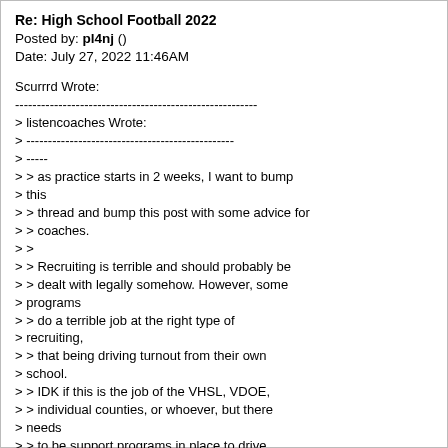Re: High School Football 2022
Posted by: pl4nj ()
Date: July 27, 2022 11:46AM
Scurrrd Wrote:
--------------------------------------------------------
> listencoaches Wrote:
> ------------------------------------------------
> -----
> > as practice starts in 2 weeks, I want to bump
> this
> > thread and bump this post with some advice for
> > coaches.
> >
> > Recruiting is terrible and should probably be
> > dealt with legally somehow. However, some
> programs
> > do a terrible job at the right type of
> recruiting,
> > that being driving turnout from their own
> school.
> > IDK if this is the job of the VHSL, VDOE,
> > individual counties, or whoever, but there
> needs
> > to be support programs in place to drive
> turnout
> > from kids at their own school. Why do we think
> > turnout is down across the state? Why do so
> many
> > people say the talent level has decreased? Why
> > does RE Lee HS (lewis) only have 25 some kids
> in